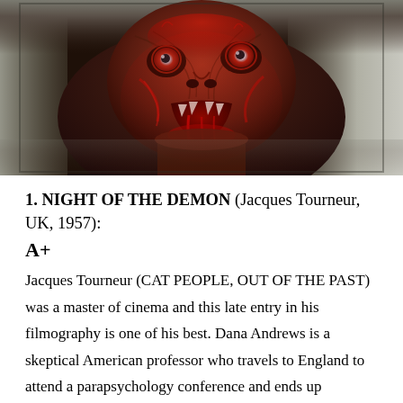[Figure (photo): Close-up horror image of a grotesque demon/monster face with bloody, gory features, red eyes, and an open mouth with fangs. Dark reddish-brown tones dominate the creature's face against a gray background.]
1. NIGHT OF THE DEMON (Jacques Tourneur, UK, 1957): A+
Jacques Tourneur (CAT PEOPLE, OUT OF THE PAST) was a master of cinema and this late entry in his filmography is one of his best. Dana Andrews is a skeptical American professor who travels to England to attend a parapsychology conference and ends up investigating a Satanic cult led by an Aleister Crowley-like figure. Chock-full of remarkable noir-ish visuals and almost unbearably suspenseful set pieces from beginning to end.